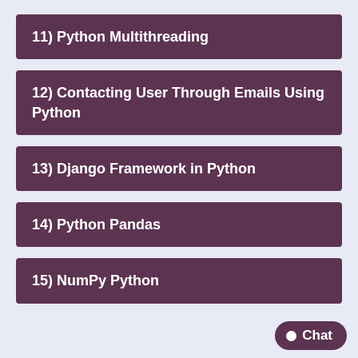11) Python Multithreading
12) Contacting User Through Emails Using Python
13) Django Framework in Python
14) Python Pandas
15) NumPy Python